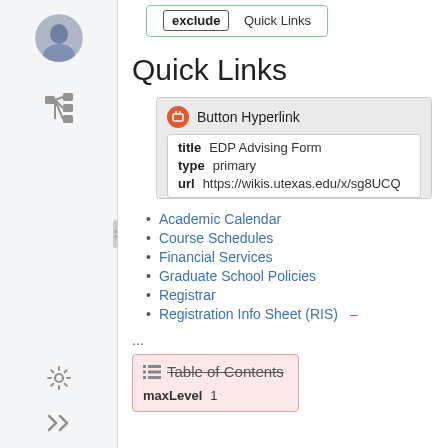[Figure (screenshot): Green bordered box with 'exclude' badge and 'Quick Links' label]
Quick Links
[Figure (screenshot): Button Hyperlink card with icon, title: EDP Advising Form, type: primary, url: https://wikis.utexas.edu/x/sg8UCQ]
Academic Calendar
Course Schedules
Financial Services
Graduate School Policies
Registrar
Registration Info Sheet (RIS) –
...
[Figure (screenshot): Pink bordered box with struck-through 'Table of Contents' title and maxLevel field showing 1]